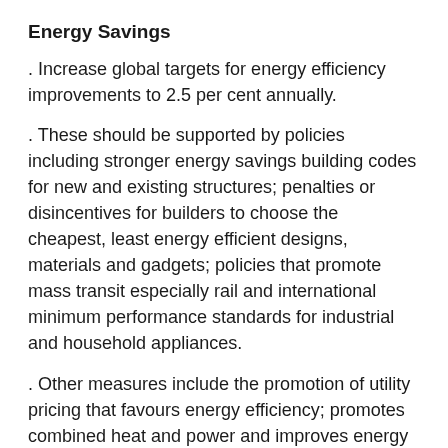Energy Savings
. Increase global targets for energy efficiency improvements to 2.5 per cent annually.
. These should be supported by policies including stronger energy savings building codes for new and existing structures; penalties or disincentives for builders to choose the cheapest, least energy efficient designs, materials and gadgets; policies that promote mass transit especially rail and international minimum performance standards for industrial and household appliances.
. Other measures include the promotion of utility pricing that favours energy efficiency; promotes combined heat and power and improves energy savings in existing power plants and electricity transmission infrastructure.
Renewables